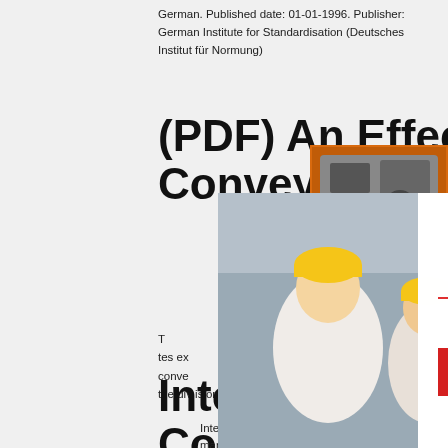German. Published date: 01-01-1996. Publisher: German Institute for Standardisation (Deutsches Institut für Normung)
(PDF) An Effective Belt Conveyor for Underground...
T... tes ex... conve... the division haulage where they are ...
International Conveyors Limite...
International Conveyors Limited is engaged in the manufacture and marketing of solid woven fabric
[Figure (screenshot): Live chat popup overlay with workers in hard hats, red LIVE CHAT text, 'Click for a Free Consultation', Chat now and Chat later buttons]
[Figure (screenshot): Right side orange advertisement with mining/crushing machinery images, Enjoy 3% discount, Click to Chat, Enquiry, limingjlmofen@sina.com]